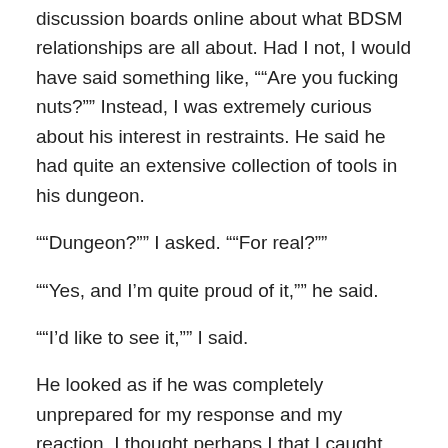discussion boards online about what BDSM relationships are all about. Had I not, I would have said something like, ““Are you fucking nuts?”” Instead, I was extremely curious about his interest in restraints. He said he had quite an extensive collection of tools in his dungeon.
““Dungeon?”” I asked. ““For real?””
““Yes, and I’m quite proud of it,”” he said.
““I’d like to see it,”” I said.
He looked as if he was completely unprepared for my response and my reaction. I thought perhaps I that I caught his bluff about being a Dom, especially when he said, ““I wasn’t prepared to show it to you tonight, especially since I’d really like for us to get to know each other better and I promised you that I would not have sex